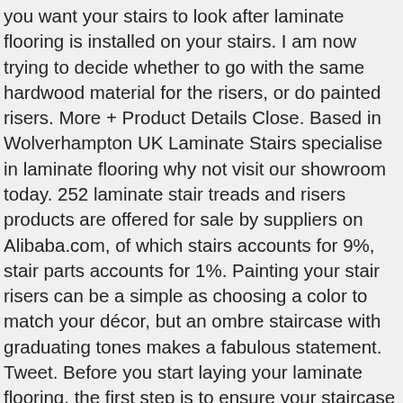you want your stairs to look after laminate flooring is installed on your stairs. I am now trying to decide whether to go with the same hardwood material for the risers, or do painted risers. More + Product Details Close. Based in Wolverhampton UK Laminate Stairs specialise in laminate flooring why not visit our showroom today. 252 laminate stair treads and risers products are offered for sale by suppliers on Alibaba.com, of which stairs accounts for 9%, stair parts accounts for 1%. Painting your stair risers can be a simple as choosing a color to match your décor, but an ombre staircase with graduating tones makes a fabulous statement. Tweet. Before you start laying your laminate flooring, the first step is to ensure your staircase is prepped and ready. See more ideas about Laminate stairs, Stairs, Diy stairs. Stair cladding of your choice whether it be in premium grade laminate with 15 colour ranges, or oak veneer for all the oak lovers out there; we supply, advise and ensure a stunning result. Compare; Find My Store. If gripper is used on tread, make sure it is a tad more that 7mm out